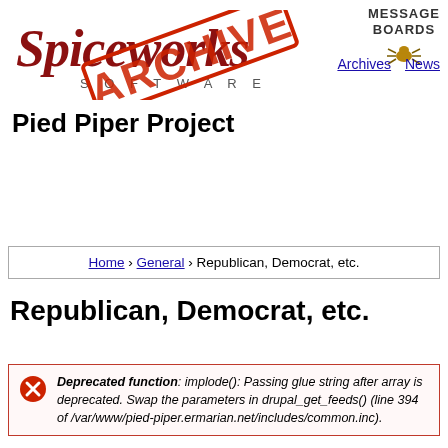[Figure (logo): Spiceworks Software logo with ARCHIVE stamp overlay and Message Boards spider icon]
Archives   News
Pied Piper Project
Home › General › Republican, Democrat, etc.
Republican, Democrat, etc.
Deprecated function: implode(): Passing glue string after array is deprecated. Swap the parameters in drupal_get_feeds() (line 394 of /var/www/pied-piper.ermarian.net/includes/common.inc).